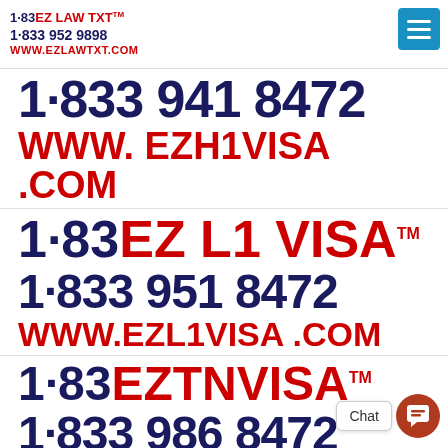1·83EZ LAW TXT™ 1·833 952 9898 WWW.EZLAWTXT.COM
1·833 941 8472
WWW.EZH1VISA .COM
1·83EZ L1 VISA™
1·833 951 8472
WWW.EZL1VISA .COM
1·83EZTNVISA™
1·833 986 8472
WWW.EZTNVISA .COM
1·83EZIG VISA™